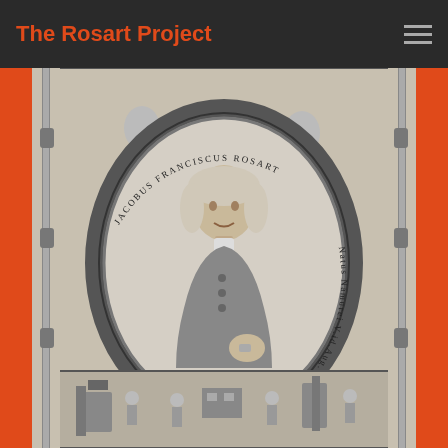The Rosart Project
[Figure (illustration): Historical engraved portrait of Jacobus Franciscus Rosart in an oval medallion frame with Latin inscription around the border reading 'JACOBUS FRANCISCUS ROSART Natus Namurei V.id.Aug.1714'. Below the portrait is a Latin text block describing his career: 'Sculpendis typis se dedit, nullo adhibato Magistro. Seertiae ejus Primitias habuit Harlemium A:1740. typos musicos execula Vix posibiles eo usque creditos. edidit A:1749. Hi de manu Ser. Ducis Caroli Loth artium fauloris primiam Bruxellae typorum suaram posuit A:1749.' Below that is a vignette engraving showing a printing workshop scene with workers at press equipment.]